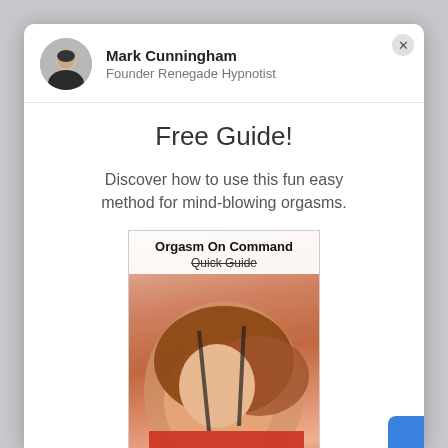[Figure (photo): Circular avatar photo of Mark Cunningham, a man in a dark suit, black and white style]
Mark Cunningham
Founder Renegade Hypnotist
Free Guide!
Discover how to use this fun easy method for mind-blowing orgasms.
[Figure (photo): Book cover titled 'Orgasm On Command Quick Guide' from RenegadeHypnotist.com, showing a woman with red hair lying with head back on red surface]
complete road map to make it happen in only 30 days.